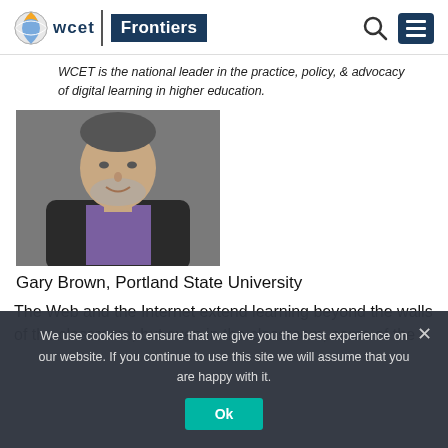[Figure (logo): WCET Frontiers logo with globe icon, text 'wcet' and 'Frontiers' in navy box]
WCET is the national leader in the practice, policy, & advocacy of digital learning in higher education.
[Figure (photo): Headshot of Gary Brown, a man with grey beard wearing a black jacket and purple shirt]
Gary Brown, Portland State University
The Web and the Internet extend learning beyond the walls of the classroom, but even in the classroom, some of the
We use cookies to ensure that we give you the best experience on our website. If you continue to use this site we will assume that you are happy with it.